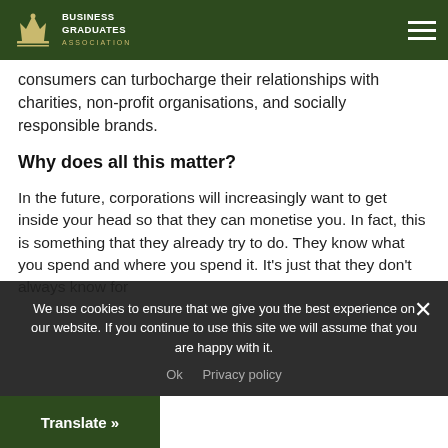Business Graduates Association
consumers can turbocharge their relationships with charities, non-profit organisations, and socially responsible brands.
Why does all this matter?
In the future, corporations will increasingly want to get inside your head so that they can monetise you. In fact, this is something that they already try to do. They know what you spend and where you spend it. It's just that they don't always know for
We use cookies to ensure that we give you the best experience on our website. If you continue to use this site we will assume that you are happy with it.
Ok   Privacy policy
Translate »